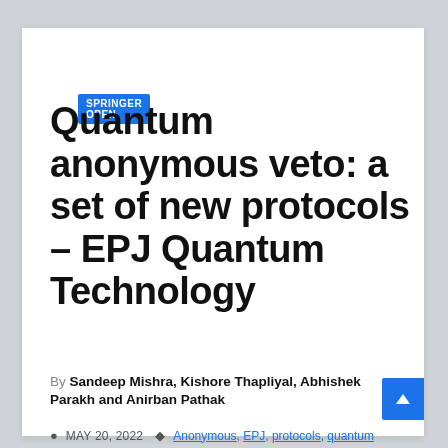SPRINGER OPEN
Quantum anonymous veto: a set of new protocols – EPJ Quantum Technology
By Sandeep Mishra, Kishore Thapliyal, Abhishek Parakh and Anirban Pathak
MAY 20, 2022   Anonymous, EPJ, protocols, quantum